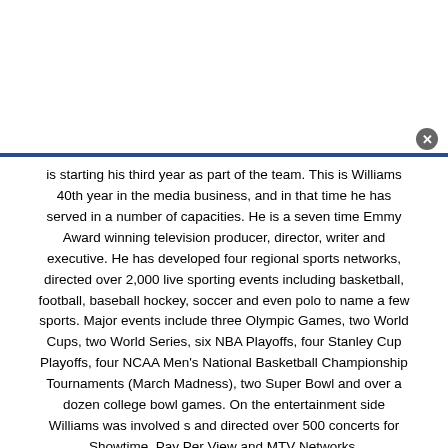is starting his third year as part of the team. This is Williams 40th year in the media business, and in that time he has served in a number of capacities. He is a seven time Emmy Award winning television producer, director, writer and executive. He has developed four regional sports networks, directed over 2,000 live sporting events including basketball, football, baseball hockey, soccer and even polo to name a few sports. Major events include three Olympic Games, two World Cups, two World Series, six NBA Playoffs, four Stanley Cup Playoffs, four NCAA Men's National Basketball Championship Tournaments (March Madness), two Super Bowl and over a dozen college bowl games. On the entertainment side Williams was involved s and directed over 500 concerts for Showtime, Pay Per View and MTV Networks.